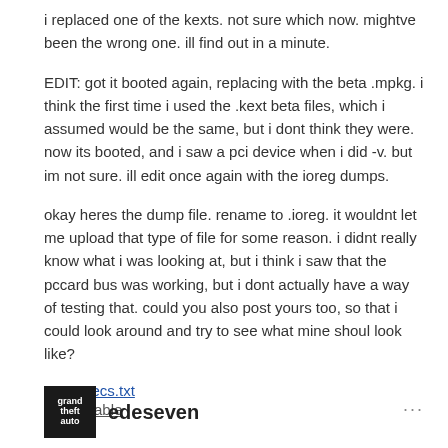i replaced one of the kexts. not sure which now. mightve been the wrong one. ill find out in a minute.
EDIT: got it booted again, replacing with the beta .mpkg. i think the first time i used the .kext beta files, which i assumed would be the same, but i dont think they were. now its booted, and i saw a pci device when i did -v. but im not sure. ill edit once again with the ioreg dumps.
okay heres the dump file. rename to .ioreg. it wouldnt let me upload that type of file for some reason. i didnt really know what i was looking at, but i think i saw that the pccard bus was working, but i dont actually have a way of testing that. could you also post yours too, so that i could look around and try to see what mine shoul look like?
acerSpecs.txt
Unavailable
edeseven